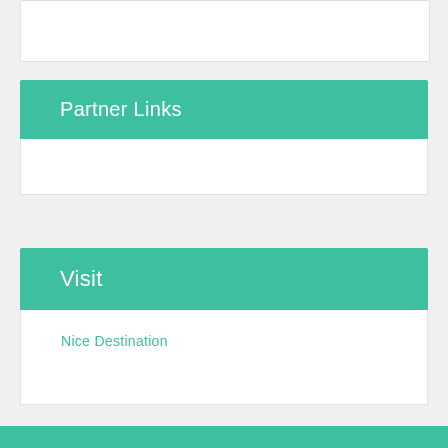Partner Links
Visit
Nice Destination